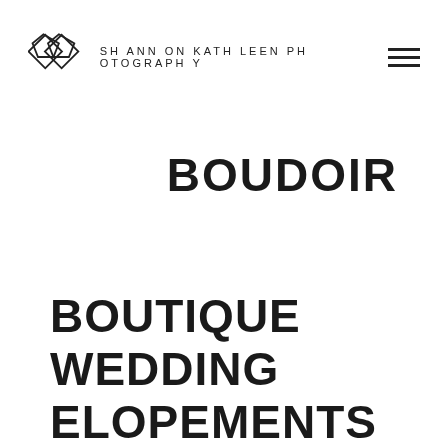[Figure (logo): Shannon Kathleen Photography logo with two overlapping diamond shapes outline and text 'SHANNON KATHLEEN PHOTOGRAPHY' and a hamburger menu icon]
BOUDOIR
BOUTIQUE
WEDDING
ELOPEMENTS